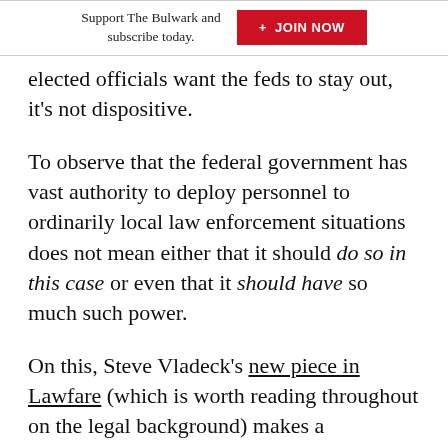Support The Bulwark and subscribe today. + JOIN NOW
elected officials want the feds to stay out, it's not dispositive.
To observe that the federal government has vast authority to deploy personnel to ordinarily local law enforcement situations does not mean either that it should do so in this case or even that it should have so much such power.
On this, Steve Vladeck's new piece in Lawfare (which is worth reading throughout on the legal background) makes a particularly startling observation: